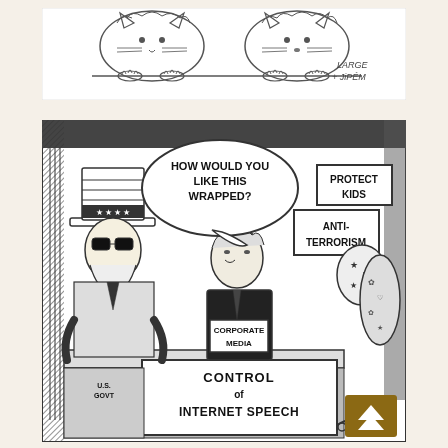[Figure (illustration): Hand-drawn cartoon sketch of two fluffy cats sitting side by side, paws visible along a horizontal line. Signed 'LARGE + JIPEM' in handwritten text at bottom right.]
[Figure (illustration): Political cartoon showing Uncle Sam (U.S. Govt) wearing sunglasses and a top hat with stars, standing at a counter with a box labeled 'CONTROL OF INTERNET SPEECH'. A figure labeled 'CORPORATE MEDIA' asks 'HOW WOULD YOU LIKE THIS WRAPPED?' while rolls of wrapping paper labeled 'ANTI-TERRORISM' and 'PROTECT KIDS' hang behind the counter. A gold/yellow button with an up-arrow appears at bottom right.]